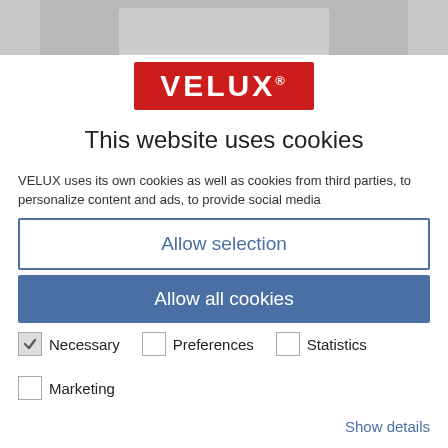[Figure (screenshot): Grey background with a light grey window frame/product partially visible at top]
[Figure (logo): VELUX logo — white text on red background rectangle]
This website uses cookies
VELUX uses its own cookies as well as cookies from third parties, to personalize content and ads, to provide social media
Allow selection
Allow all cookies
Necessary
Preferences
Statistics
Marketing
Show details